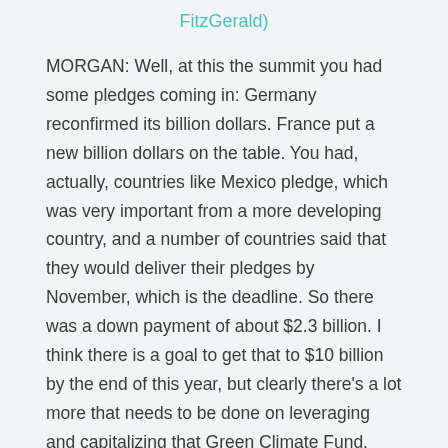FitzGerald)
MORGAN: Well, at this the summit you had some pledges coming in: Germany reconfirmed its billion dollars. France put a new billion dollars on the table. You had, actually, countries like Mexico pledge, which was very important from a more developing country, and a number of countries said that they would deliver their pledges by November, which is the deadline. So there was a down payment of about $2.3 billion. I think there is a goal to get that to $10 billion by the end of this year, but clearly there's a lot more that needs to be done on leveraging and capitalizing that Green Climate Fund.
CURWOOD: What about the United States? Where is the U.S. government on these pledges?
MORGAN: Well, my understanding is that they are